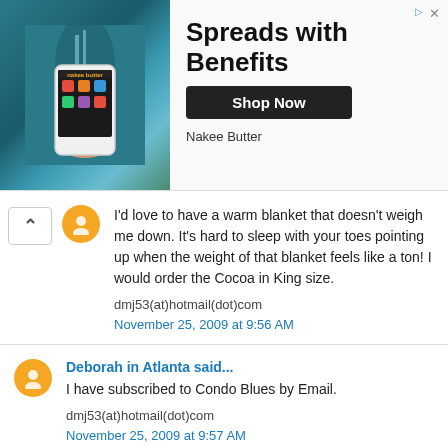[Figure (infographic): Advertisement banner for Nakee Butter 'Spreads with Benefits' featuring a phone image and Shop Now button]
I'd love to have a warm blanket that doesn't weigh me down. It's hard to sleep with your toes pointing up when the weight of that blanket feels like a ton! I would order the Cocoa in King size.

dmj53(at)hotmail(dot)com

November 25, 2009 at 9:56 AM
Deborah in Atlanta said...

I have subscribed to Condo Blues by Email.

dmj53(at)hotmail(dot)com

November 25, 2009 at 9:57 AM